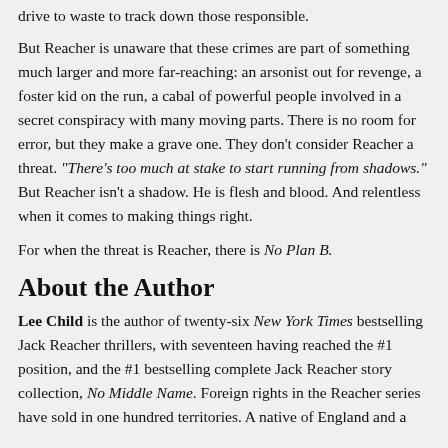drive to waste to track down those responsible.
But Reacher is unaware that these crimes are part of something much larger and more far-reaching: an arsonist out for revenge, a foster kid on the run, a cabal of powerful people involved in a secret conspiracy with many moving parts. There is no room for error, but they make a grave one. They don't consider Reacher a threat. “There’s too much at stake to start running from shadows.” But Reacher isn’t a shadow. He is flesh and blood. And relentless when it comes to making things right.
For when the threat is Reacher, there is No Plan B.
About the Author
Lee Child is the author of twenty-six New York Times bestselling Jack Reacher thrillers, with seventeen having reached the #1 position, and the #1 bestselling complete Jack Reacher story collection, No Middle Name. Foreign rights in the Reacher series have sold in one hundred territories. A native of England and a